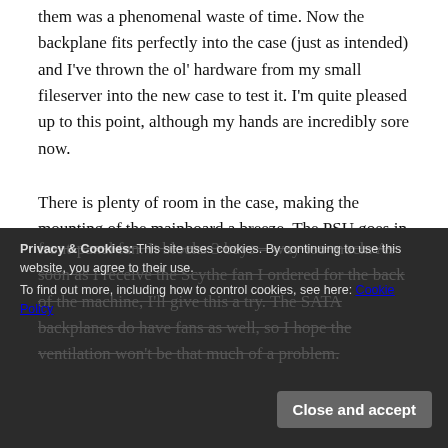them was a phenomenal waste of time. Now the backplane fits perfectly into the case (just as intended) and I've thrown the ol' hardware from my small fileserver into the new case to test it. I'm quite pleased up to this point, although my hands are incredibly sore now.
There is plenty of room in the case, making the mounting of the mainboard a breeze. The PSU goes in the bottom of the case, a strange decision but makes changing the darn thing very easy, so it is highly appreciated.
front-panel fan. It blocks 3 bays – way too much. As soon as I receive the Scythe fan I ordered for the back of the machine, I'll give this a try. The SATA backplanes do have fans as well, so I hope the ventilation won't be that much of a problem.
Privacy & Cookies: This site uses cookies. By continuing to use this website, you agree to their use. To find out more, including how to control cookies, see here: Cookie Policy
Close and accept